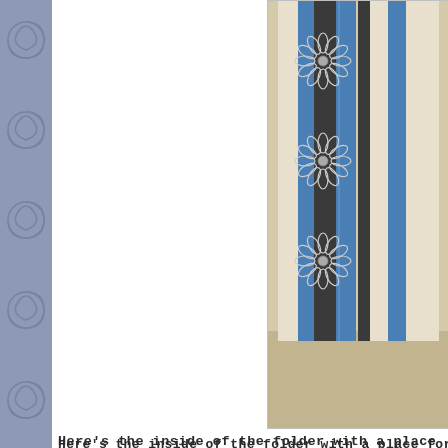[Figure (photo): Top photo showing a decorative folder/card standing upright with blue, dark gray/charcoal, and cream colored vertical stripes, decorated with stamped daisy/flower designs in white/silver on the dark stripe.]
Here's the inside of the folder with a place for right h
[Figure (photo): Bottom photo showing the inside of the same decorative folder laid flat, displaying blue and dark charcoal vertical stripes on cream background with a large intricate sunflower/mandala stamp design in gray on the front panel.]